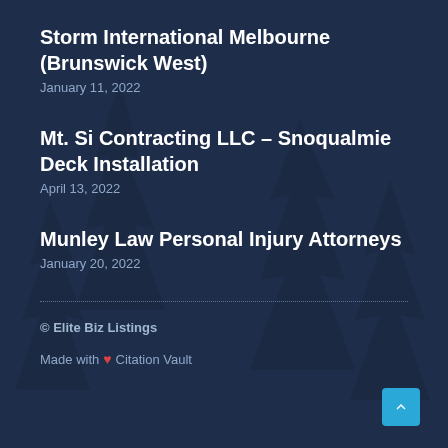Storm International Melbourne (Brunswick West)
January 11, 2022
Mt. Si Contracting LLC – Snoqualmie Deck Installation
April 13, 2022
Munley Law Personal Injury Attorneys
January 20, 2022
© Elite Biz Listings
Made with ❤ Citation Vault